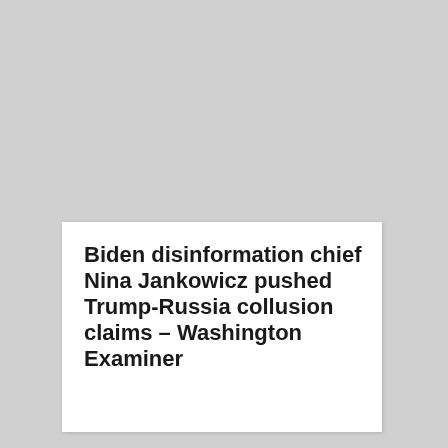Biden disinformation chief Nina Jankowicz pushed Trump-Russia collusion claims – Washington Examiner